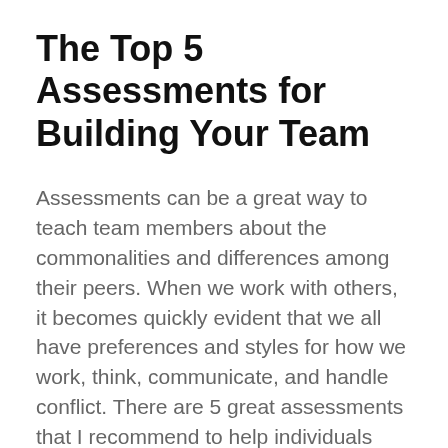The Top 5 Assessments for Building Your Team
Assessments can be a great way to teach team members about the commonalities and differences among their peers. When we work with others, it becomes quickly evident that we all have preferences and styles for how we work, think, communicate, and handle conflict. There are 5 great assessments that I recommend to help individuals and … Read more
Development, Dr. Jason Jones, Jason Jones, Leadership, Motivation, Team, Team Assessment, Team Motivation, Teams, Work